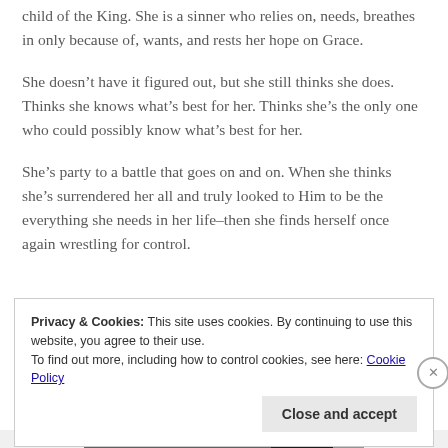child of the King. She is a sinner who relies on, needs, breathes in only because of, wants, and rests her hope on Grace.
She doesn't have it figured out, but she still thinks she does. Thinks she knows what's best for her. Thinks she's the only one who could possibly know what's best for her.
She's party to a battle that goes on and on. When she thinks she's surrendered her all and truly looked to Him to be the everything she needs in her life–then she finds herself once again wrestling for control.
Privacy & Cookies: This site uses cookies. By continuing to use this website, you agree to their use.
To find out more, including how to control cookies, see here: Cookie Policy